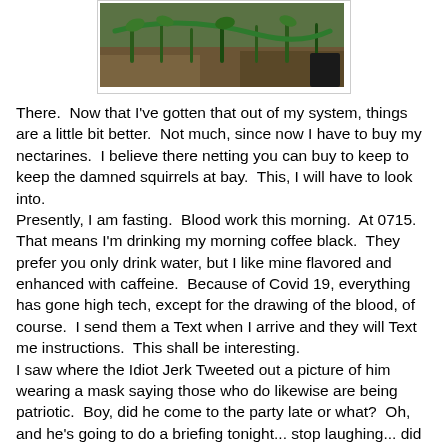[Figure (photo): Partial photograph showing garden plants with a green hose, dark soil visible underneath]
There.  Now that I've gotten that out of my system, things are a little bit better.  Not much, since now I have to buy my nectarines.  I believe there netting you can buy to keep to keep the damned squirrels at bay.  This, I will have to look into.
Presently, I am fasting.  Blood work this morning.  At 0715.  That means I'm drinking my morning coffee black.  They prefer you only drink water, but I like mine flavored and enhanced with caffeine.  Because of Covid 19, everything has gone high tech, except for the drawing of the blood, of course.  I send them a Text when I arrive and they will Text me instructions.  This shall be interesting.
I saw where the Idiot Jerk Tweeted out a picture of him wearing a mask saying those who do likewise are being patriotic.  Boy, did he come to the party late or what?  Oh, and he's going to do a briefing tonight... stop laughing... did you hear me?  Stop Laughing!  This is what desperation looks like, in case you were wondering.  Someone should